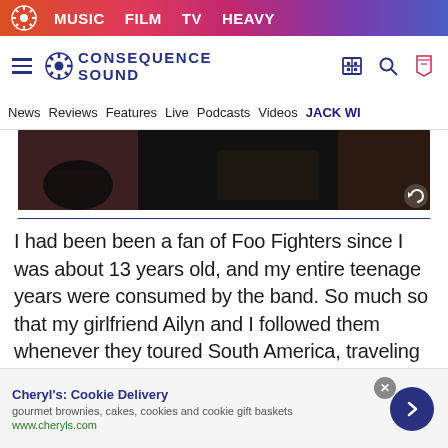MUSIC  FILM  TV  HEAVY
[Figure (logo): Consequence Sound website logo with gear icon and navigation icons]
News  Reviews  Features  Live  Podcasts  Videos  JACK W
[Figure (photo): Darkened article header photo, partially cropped, showing a person]
I had been been a fan of Foo Fighters since I was about 13 years old, and my entire teenage years were consumed by the band. So much so that my girlfriend Ailyn and I followed them whenever they toured South America, traveling to nearby countries like Argentina and Brasil. The passion we shared for the Foo
[Figure (infographic): Ad banner: Cheryl's Cookie Delivery — gourmet brownies, cakes, cookies and cookie gift baskets. www.cheryls.com]